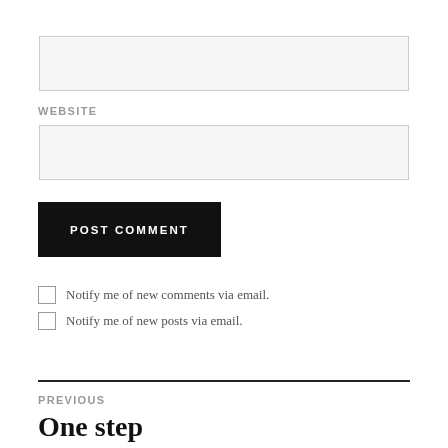[input box 1 - unnamed]
WEBSITE
[input box 2 - website]
POST COMMENT
Notify me of new comments via email.
Notify me of new posts via email.
PREVIOUS
One step